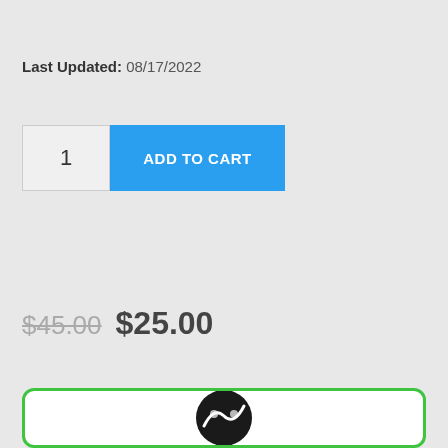Last Updated: 08/17/2022
[Figure (screenshot): E-commerce product page snippet showing a quantity input box with value 1 and a blue ADD TO CART button]
$45.00  $25.00
[Figure (logo): Green-bordered button area with a circular dark logo partially visible at the bottom of the page]